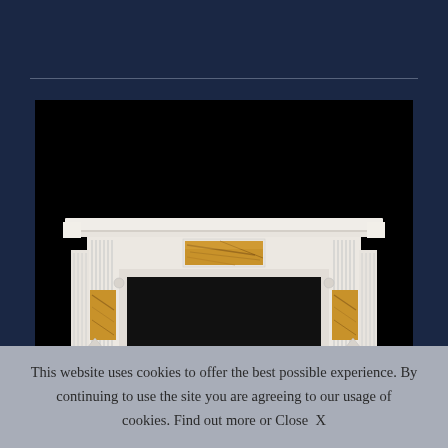[Figure (photo): A white marble fireplace surround with ornate classical details, including fluted pilasters, decorative frieze panel with sienna/brown marble insets, set against a black background.]
This website uses cookies to offer the best possible experience. By continuing to use the site you are agreeing to our usage of cookies. Find out more or Close  X